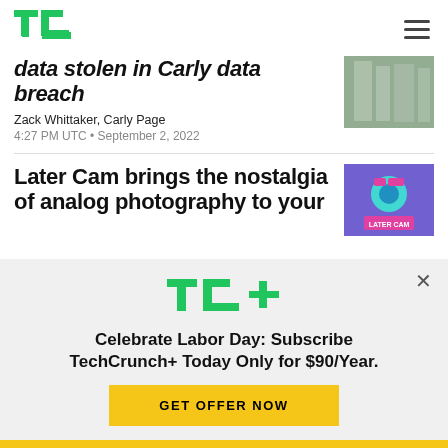TechCrunch
data stolen in Carly data breach
Zack Whittaker, Carly Page
4:27 PM UTC • September 2, 2022
[Figure (photo): Building exterior with glass windows]
Later Cam brings the nostalgia of analog photography to your
[Figure (logo): Later Cam app logo on purple background]
[Figure (logo): TechCrunch+ logo in green with plus sign]
Celebrate Labor Day: Subscribe TechCrunch+ Today Only for $90/Year.
GET OFFER NOW